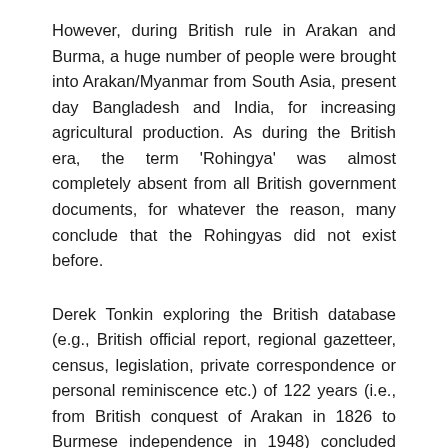However, during British rule in Arakan and Burma, a huge number of people were brought into Arakan/Myanmar from South Asia, present day Bangladesh and India, for increasing agricultural production. As during the British era, the term 'Rohingya' was almost completely absent from all British government documents, for whatever the reason, many conclude that the Rohingyas did not exist before.
Derek Tonkin exploring the British database (e.g., British official report, regional gazetteer, census, legislation, private correspondence or personal reminiscence etc.) of 122 years (i.e., from British conquest of Arakan in 1826 to Burmese independence in 1948) concluded that there was not a single mention of the Rohingyas in any government documents, so he concluded that there was no group